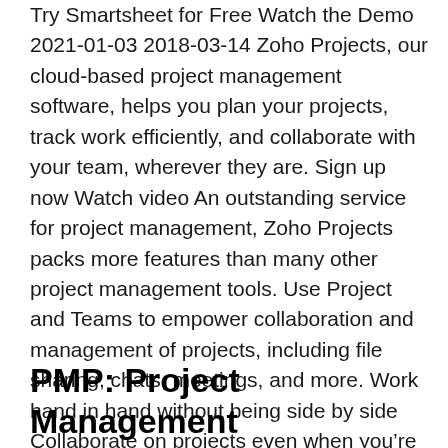Try Smartsheet for Free Watch the Demo 2021-01-03 2018-03-14 Zoho Projects, our cloud-based project management software, helps you plan your projects, track work efficiently, and collaborate with your team, wherever they are. Sign up now Watch video An outstanding service for project management, Zoho Projects packs more features than many other project management tools. Use Project and Teams to empower collaboration and management of projects, including file sharing, chats, meetings, and more. Work hand in hand without being side by side Collaborate on projects even when you’re on different continents.
PMP: Project Management Professional Exam Deluxe